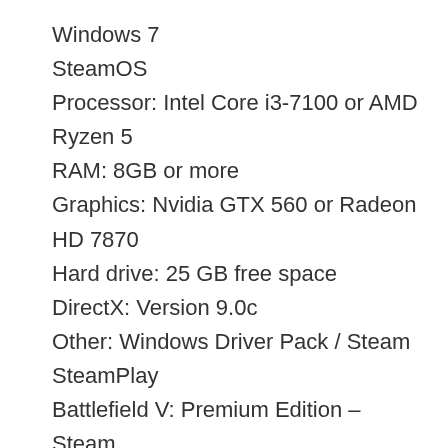Windows 7
SteamOS
Processor: Intel Core i3-7100 or AMD Ryzen 5
RAM: 8GB or more
Graphics: Nvidia GTX 560 or Radeon HD 7870
Hard drive: 25 GB free space
DirectX: Version 9.0c
Other: Windows Driver Pack / Steam
SteamPlay
Battlefield V: Premium Edition – Steam
Battlefield V: Ultimate Edition – Steam
Battlefield 1: Deluxe Edition
Battlefield 1: Standard Edition
Battlefield